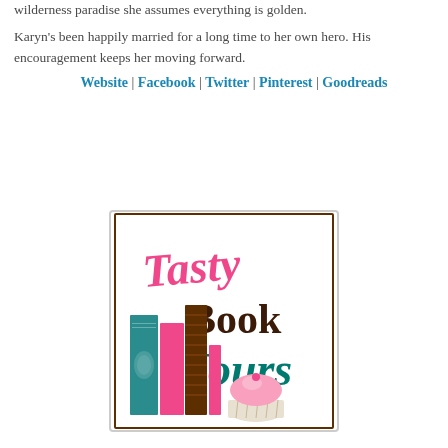wilderness paradise she assumes everything is golden.
Karyn's been happily married for a long time to her own hero. His encouragement keeps her moving forward.
Website | Facebook | Twitter | Pinterest | Goodreads
[Figure (logo): Tasty Book Tours logo featuring the text 'Tasty Book Tours' in pink and teal script/decorative fonts, alongside illustrated books (teal, pink, brown) and a cupcake with pink frosting, inside a brown-bordered white square.]